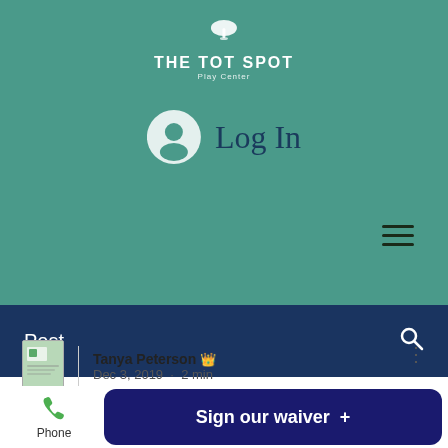[Figure (screenshot): The Tot Tot Spot Play Center website screenshot showing a teal header with logo, Log In link, hamburger menu, navy navigation bar with 'Post' label, All Posts dropdown, blog post author row with Tanya Peterson Admin Dec 3 2019 2 min, partial post title 'How to Plan a Unique', and bottom bar with Phone and Sign our waiver button]
THE TOT SPOT Play Center
Log In
Post
All Posts
Tanya Peterson 👑 Admin
Dec 3, 2019 · 2 min
How to Plan a Unique
Phone
Sign our waiver +